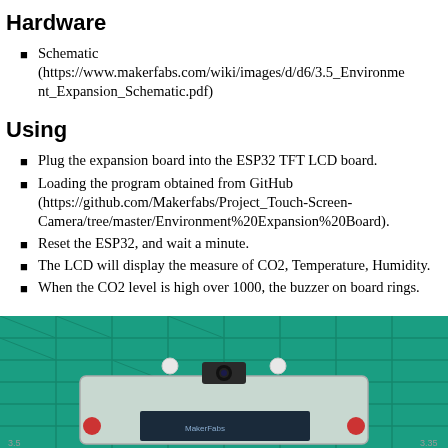Hardware
Schematic (https://www.makerfabs.com/wiki/images/d/d6/3.5_Environment_Expansion_Schematic.pdf)
Using
Plug the expansion board into the ESP32 TFT LCD board.
Loading the program obtained from GitHub (https://github.com/Makerfabs/Project_Touch-Screen-Camera/tree/master/Environment%20Expansion%20Board).
Reset the ESP32, and wait a minute.
The LCD will display the measure of CO2, Temperature, Humidity.
When the CO2 level is high over 1000, the buzzer on board rings.
[Figure (photo): Photo of a Makerfabs ESP32 TFT LCD board with camera module mounted on a green cutting mat background.]